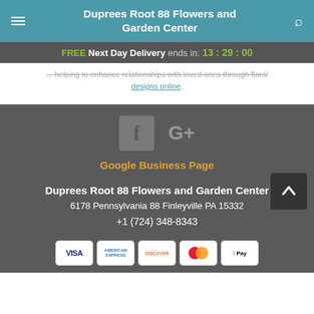Duprees Root 88 Flowers and Garden Center
FREE Next Day Delivery ends in: 13:29:00
designs online.
[Figure (logo): Facebook and Google+ social media icons]
Google Business Page
Duprees Root 88 Flowers and Garden Center
6178 Pennsylvania 88 Finleyville PA 15332
+1 (724) 348-8343
[Figure (other): Payment method logos: Visa, American Express, Discover, Mastercard, Apple Pay]